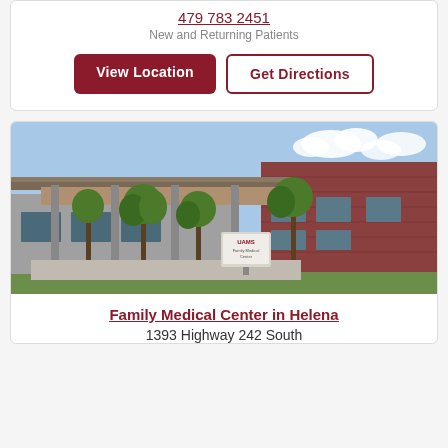479 783 2451
New and Returning Patients
View Location
Get Directions
[Figure (photo): Exterior photo of UAMS Family Medical Center building — a brick building with a modern covered entrance canopy, trees, and a sign reading 'UAMS Family Medical Center']
Family Medical Center in Helena
1393 Highway 242 South